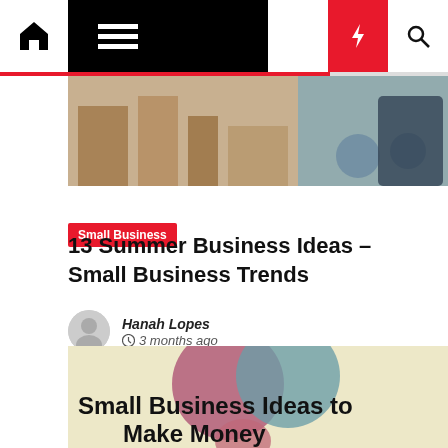[Figure (screenshot): Website navigation bar with home icon, hamburger menu, moon/dark-mode icon, lightning bolt icon on red background, and search icon]
[Figure (photo): Outdoor scene with wooden structures and a bicycle, partial view]
Small Business
13 Summer Business Ideas – Small Business Trends
Hanah Lopes  ⊙ 3 months ago
[Figure (infographic): Infographic with overlapping pink and teal circles on beige background, text reads 'Small Business Ideas to Make Money']